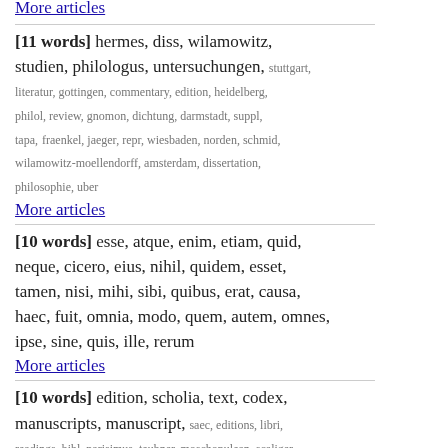More articles
[11 words] hermes, diss, wilamowitz, studien, philologus, untersuchungen, stuttgart, literatur, gottingen, commentary, edition, heidelberg, philol, review, gnomon, dichtung, darmstadt, suppl, tapa, fraenkel, jaeger, repr, wiesbaden, norden, schmid, wilamowitz-moellendorff, amsterdam, dissertation, philosophie, uber
More articles
[10 words] esse, atque, enim, etiam, quid, neque, cicero, eius, nihil, quidem, esset, tamen, nisi, mihi, sibi, quibus, erat, causa, haec, fuit, omnia, modo, quem, autem, omnes, ipse, sine, quis, ille, rerum
More articles
[10 words] edition, scholia, text, codex, manuscripts, manuscript, saec, editions, libri, readings, bibl, parisimus, teubner, moschopulean, scaliger, ajax, dindorf, printed, codices, stephanus, turyn, commentary, moschopulus, scholium, collated, contains, vita, collation, vaticanus, leiden
More articles